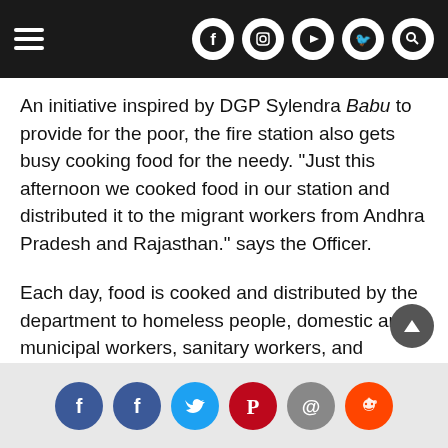Navigation bar with hamburger menu and social media icons (Facebook, Instagram, YouTube, Twitter, Search)
An initiative inspired by DGP Sylendra Babu to provide for the poor, the fire station also gets busy cooking food for the needy. "Just this afternoon we cooked food in our station and distributed it to the migrant workers from Andhra Pradesh and Rajasthan." says the Officer.
Each day, food is cooked and distributed by the department to homeless people, domestic and municipal workers, sanitary workers, and labourers.
Social share icons: Facebook, Facebook, Twitter, Pinterest, Email, Reddit